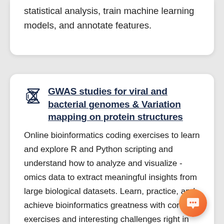statistical analysis, train machine learning models, and annotate features.
GWAS studies for viral and bacterial genomes & Variation mapping on protein structures
Online bioinformatics coding exercises to learn and explore R and Python scripting and understand how to analyze and visualize - omics data to extract meaningful insights from large biological datasets. Learn, practice, and achieve bioinformatics greatness with concise exercises and interesting challenges right in the comfort of your browser!